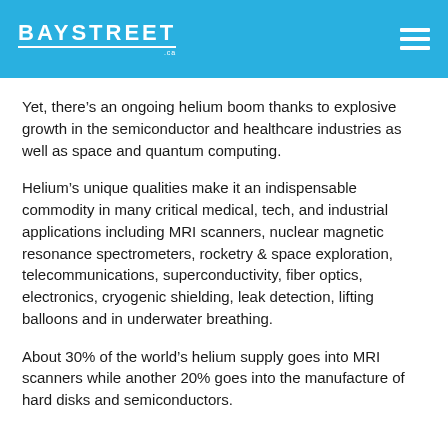BAYSTREET .ca
Yet, there's an ongoing helium boom thanks to explosive growth in the semiconductor and healthcare industries as well as space and quantum computing.
Helium's unique qualities make it an indispensable commodity in many critical medical, tech, and industrial applications including MRI scanners, nuclear magnetic resonance spectrometers, rocketry & space exploration, telecommunications, superconductivity, fiber optics, electronics, cryogenic shielding, leak detection, lifting balloons and in underwater breathing.
About 30% of the world's helium supply goes into MRI scanners while another 20% goes into the manufacture of hard disks and semiconductors.